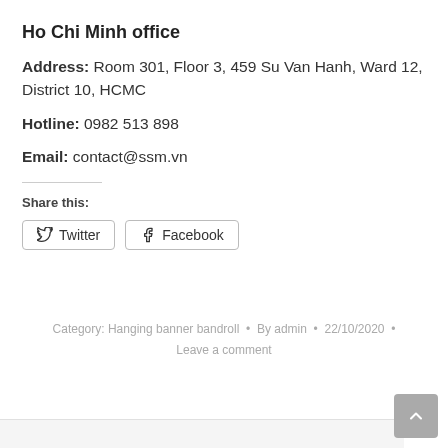Ho Chi Minh office
Address: Room 301, Floor 3, 459 Su Van Hanh, Ward 12, District 10, HCMC
Hotline: 0982 513 898
Email: contact@ssm.vn
Share this:
Twitter
Facebook
Category: Hanging banner bandroll • By admin • 22/10/2020 • Leave a comment